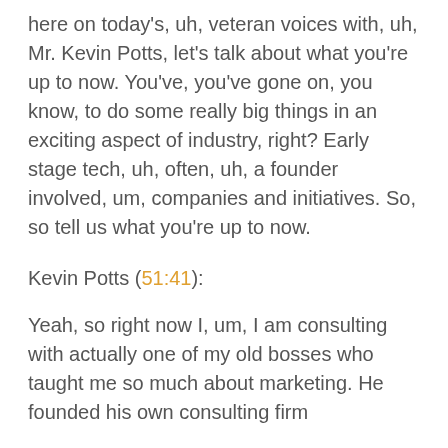here on today's, uh, veteran voices with, uh, Mr. Kevin Potts, let's talk about what you're up to now. You've, you've gone on, you know, to do some really big things in an exciting aspect of industry, right? Early stage tech, uh, often, uh, a founder involved, um, companies and initiatives. So, so tell us what you're up to now.
Kevin Potts (51:41):
Yeah, so right now I, um, I am consulting with actually one of my old bosses who taught me so much about marketing. He founded his own consulting firm